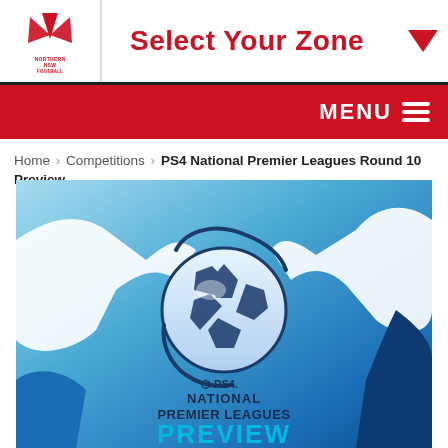[Figure (logo): Northern NSW Football logo - red triangle/boomerang symbol above text NORTHERN NSW FOOTBALL]
Select Your Zone
MENU
Home › Competitions › PS4 National Premier Leagues Round 10 Preview
[Figure (illustration): PS4 National Premier Leagues Preview banner image: blue gradient background with white silhouette hands holding a soccer ball, with PS4 National Premier Leagues PREVIEW text overlay]